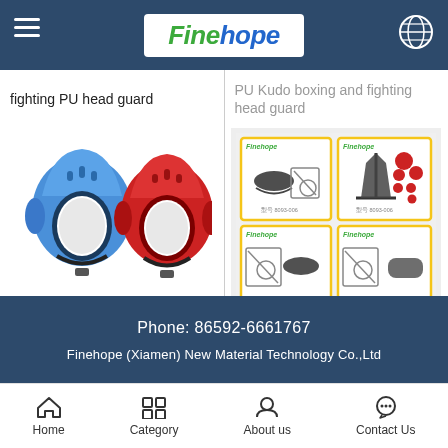Finehope
fighting PU head guard
PU Kudo boxing and fighting head guard
[Figure (photo): Blue and red Kudo boxing and fighting head guards]
Kudo boxing and fighting head guard
[Figure (photo): Finehope product catalog grid showing 4 panels with polyurethane pad and foot products]
Polyurethane pad,Polyurethane foot
Phone: 86592-6661767
Finehope (Xiamen) New Material Technology Co.,Ltd
Home  Category  About us  Contact Us